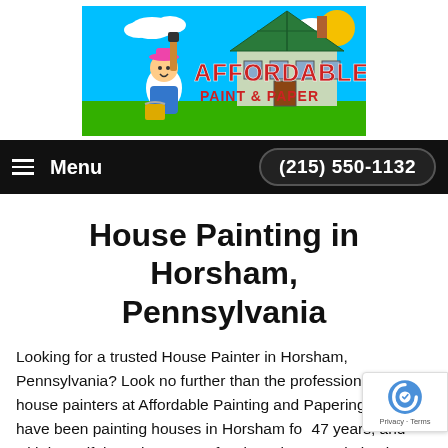[Figure (logo): Affordable Paint & Paper logo with cartoon painter character and Victorian house illustration]
Menu   (215) 550-1132
House Painting in Horsham, Pennsylvania
Looking for a trusted House Painter in Horsham, Pennsylvania? Look no further than the professional, expert house painters at Affordable Painting and Papering LLC. We have been painting houses in Horsham for 47 years, and with beautiful results! For professional house painting in Horsham you'll be proud to show Affordable Painting and Papering LLC for a quote.